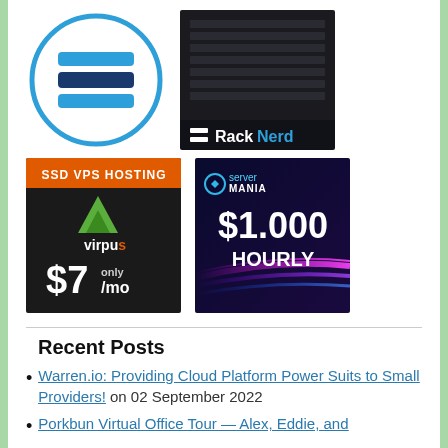[Figure (logo): Circular blue outlined logo with horizontal bars and blue rectangle, representing a hosting/VPS site logo]
[Figure (logo): RackNerd logo — dark server rack photo with '== RackNerd' branding text on dark banner at bottom]
[Figure (logo): Virpus SSD VPS Hosting ad — orange header 'SSD VPS HOSTING', green Virpus logo, '$7/mo only' pricing on dark background]
[Figure (logo): ServerMania ad — dark blue/purple background with speed light streaks, '$1.000 HOURLY' pricing text]
Recent Posts
Warren.io: Providing Cloud Platform Power Suits to Small Providers! on 02 September 2022
Porkbun Virtual Office Tour — Alex, Eddie, and